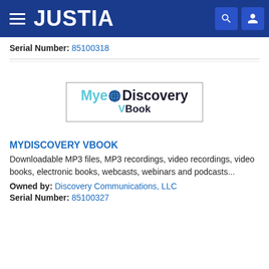JUSTIA
Serial Number: 85100318
[Figure (logo): MyeDiscovery VBook logo — text logo with globe icon, teal and dark text, inside a rectangular border]
MYDISCOVERY VBOOK
Downloadable MP3 files, MP3 recordings, video recordings, video books, electronic books, webcasts, webinars and podcasts...
Owned by: Discovery Communications, LLC
Serial Number: 85100327